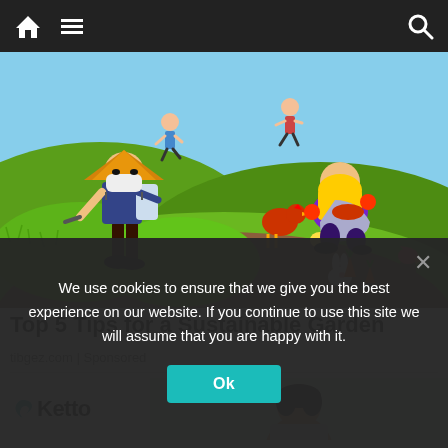Navigation bar with home, menu, and search icons
[Figure (illustration): Colorful illustration of a sustainable garden scene: a person wearing an Asian conical hat and face mask using a spray pump, a woman in purple kneeling with a bucket of vegetables, chickens, rabbits, birds, and carrots scattered in a garden with green hills and running people in the background.]
Top 5 Tips for a Sustainable Garden
tibgez.com | Sponsored
[Figure (logo): Ketto logo with a teal bird icon and bold black 'Ketto' text, alongside a partial photo of a person]
We use cookies to ensure that we give you the best experience on our website. If you continue to use this site we will assume that you are happy with it.
Ok